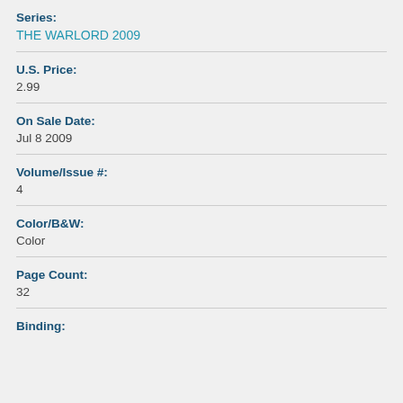Series:
THE WARLORD 2009
U.S. Price:
2.99
On Sale Date:
Jul 8 2009
Volume/Issue #:
4
Color/B&W:
Color
Page Count:
32
Binding: